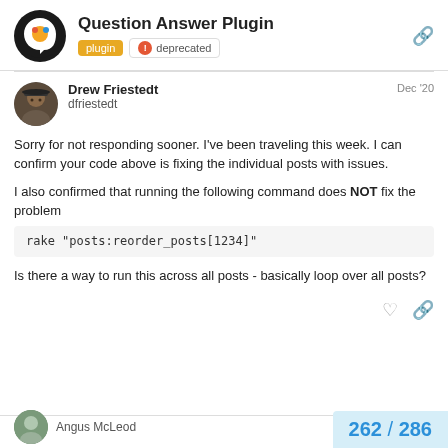Question Answer Plugin | plugin | deprecated
Drew Friestedt
dfriestedt
Dec '20
Sorry for not responding sooner. I've been traveling this week. I can confirm your code above is fixing the individual posts with issues.

I also confirmed that running the following command does NOT fix the problem
Is there a way to run this across all posts - basically loop over all posts?
262 / 286
Angus McLeod